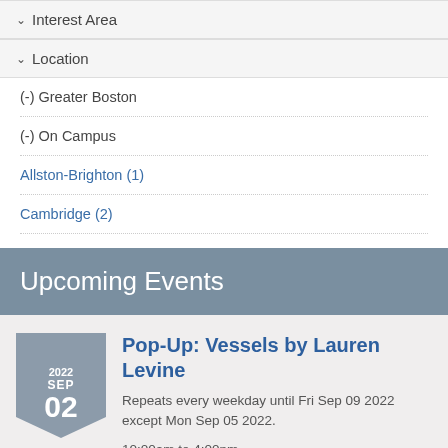Interest Area
Location
(-) Greater Boston
(-) On Campus
Allston-Brighton (1)
Cambridge (2)
Upcoming Events
Pop-Up: Vessels by Lauren Levine
Repeats every weekday until Fri Sep 09 2022 except Mon Sep 05 2022.
10:00am to 4:00pm